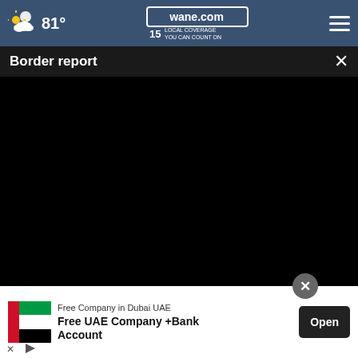wane.com | 15 LOCAL COVERAGE YOU CAN COUNT ON | 81°
Border report
[Figure (screenshot): Video player showing a black screen (video not loaded), with progress bar at start (00:00) and playback controls (play, mute, timestamp 00:00, captions, fullscreen buttons) on a dark control bar]
[Figure (photo): Partial view of a person's head (hair visible) below the video player area, gray background]
[Figure (other): Advertisement banner: UAE flag graphic, text 'Free Company in Dubai UAE / Free UAE Company +Bank Account', Open button]